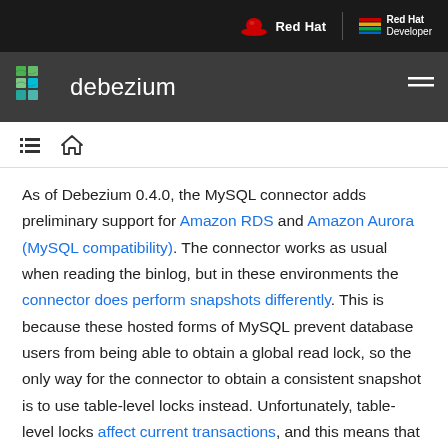Red Hat | Red Hat Developer
debezium
As of Debezium 0.4.0, the MySQL connector adds preliminary support for Amazon RDS and Amazon Aurora (MySQL compatibility). The connector works as usual when reading the binlog, but in these environments the connector does perform snapshots differently. This is because these hosted forms of MySQL prevent database users from being able to obtain a global read lock, so the only way for the connector to obtain a consistent snapshot is to use table-level locks instead. Unfortunately, table-level locks affect current transactions, and this means that